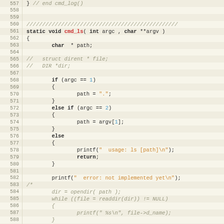[Figure (screenshot): Source code editor showing C code for cmd_ls function, lines 557-589, with syntax highlighting on a tan/beige background with line numbers.]